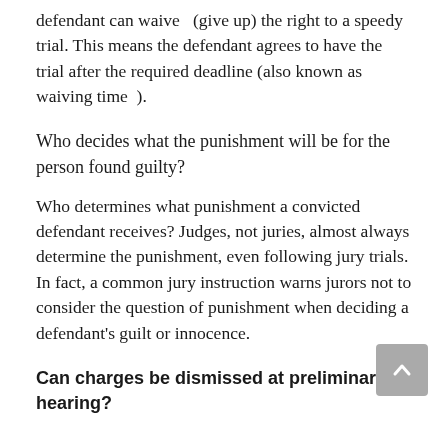defendant can waive   (give up) the right to a speedy trial. This means the defendant agrees to have the trial after the required deadline (also known as waiving time  ).
Who decides what the punishment will be for the person found guilty?
Who determines what punishment a convicted defendant receives? Judges, not juries, almost always determine the punishment, even following jury trials. In fact, a common jury instruction warns jurors not to consider the question of punishment when deciding a defendant's guilt or innocence.
Can charges be dismissed at preliminary hearing?